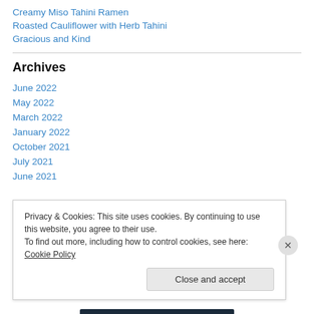Creamy Miso Tahini Ramen
Roasted Cauliflower with Herb Tahini
Gracious and Kind
Archives
June 2022
May 2022
March 2022
January 2022
October 2021
July 2021
June 2021
Privacy & Cookies: This site uses cookies. By continuing to use this website, you agree to their use.
To find out more, including how to control cookies, see here: Cookie Policy
Close and accept